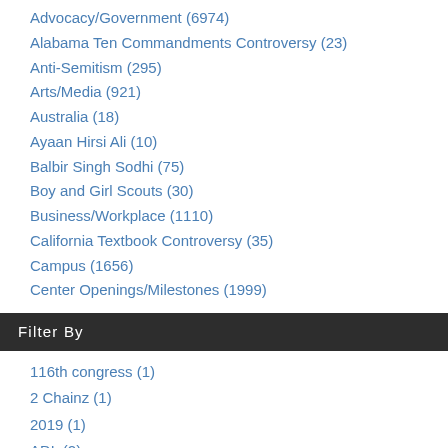Advocacy/Government (6974)
Alabama Ten Commandments Controversy (23)
Anti-Semitism (295)
Arts/Media (921)
Australia (18)
Ayaan Hirsi Ali (10)
Balbir Singh Sodhi (75)
Boy and Girl Scouts (30)
Business/Workplace (1110)
California Textbook Controversy (35)
Campus (1656)
Center Openings/Milestones (1999)
Filter By
116th congress (1)
2 Chainz (1)
2019 (1)
ADL (2)
Abortion (1)